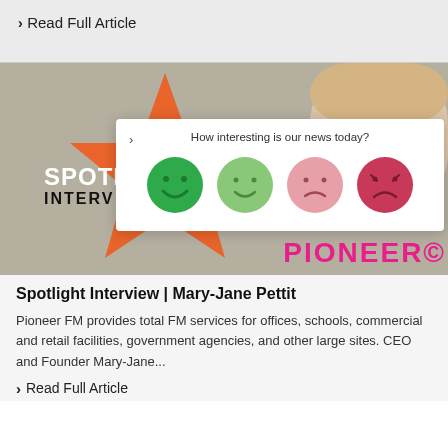> Read Full Article
[Figure (screenshot): Spotlight Interview banner with orange star graphic, woman's face partially visible top right, overlay popup asking 'How interesting is our news today?' with four emoji faces (happy, neutral, sad, very sad), and PIONEER text in pink at the bottom.]
Spotlight Interview | Mary-Jane Pettit
Pioneer FM provides total FM services for offices, schools, commercial and retail facilities, government agencies, and other large sites. CEO and Founder Mary-Jane...
> Read Full Article